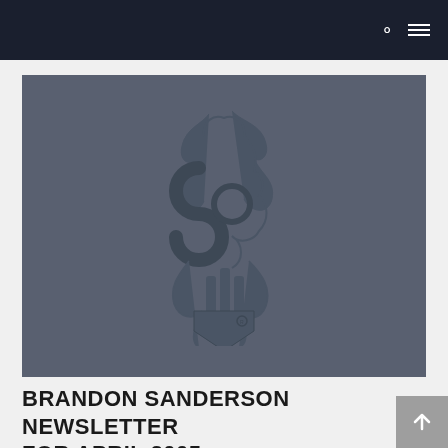Navigation bar with search and menu icons
[Figure (logo): Brandon Sanderson dragon logo / Dragonsteel emblem on a dark gray background]
BRANDON SANDERSON NEWSLETTER FOR APRIL 2005